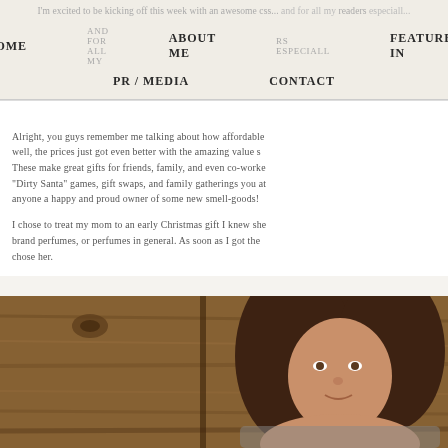I'm excited to be kicking off this week with an awesome gss... and for all my readers especially
HOME   ABOUT ME   FEATURED IN   PR / MEDIA   CONTACT
Alright, you guys remember me talking about how affordable well, the prices just got even better with the amazing value s These make great gifts for friends, family, and even co-worke "Dirty Santa" games, gift swaps, and family gatherings you at anyone a happy and proud owner of some new smell-goods!
I chose to treat my mom to an early Christmas gift I knew she brand perfumes, or perfumes in general. As soon as I got the chose her.
[Figure (photo): Photo of a woman with brown curly hair sitting in front of a wooden background, smiling slightly]